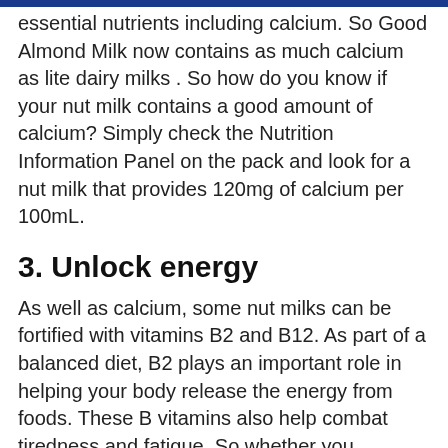essential nutrients including calcium. So Good Almond Milk now contains as much calcium as lite dairy milks . So how do you know if your nut milk contains a good amount of calcium? Simply check the Nutrition Information Panel on the pack and look for a nut milk that provides 120mg of calcium per 100mL.
3. Unlock energy
As well as calcium, some nut milks can be fortified with vitamins B2 and B12. As part of a balanced diet, B2 plays an important role in helping your body release the energy from foods. These B vitamins also help combat tiredness and fatigue. So whether you struggle to get going in the mornings or are looking for an afternoon pick-me up, forget the quick sugar fix – nutrient-rich nut milk may be just what your body